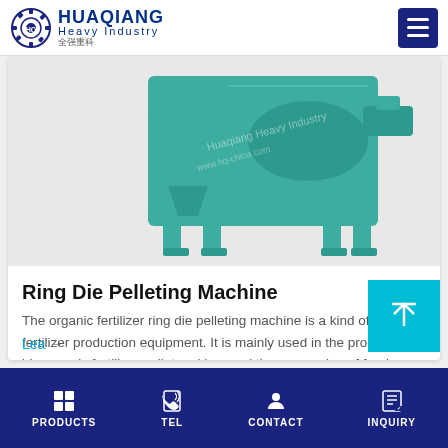HUAQIANG Heavy Industry
[Figure (photo): Green-painted Ring Die Pelleting Machine, a large industrial pellet-making equipment with cylindrical drum and support legs.]
Ring Die Pelleting Machine
The organic fertilizer ring die pelleting machine is a kind of organic fertilizer production equipment. It is mainly used in the production of bio organic fertilizer pellet making, and the processing of feed pellets in breeding industry.
PRODUCTS  TEL  CONTACT  INQUIRY